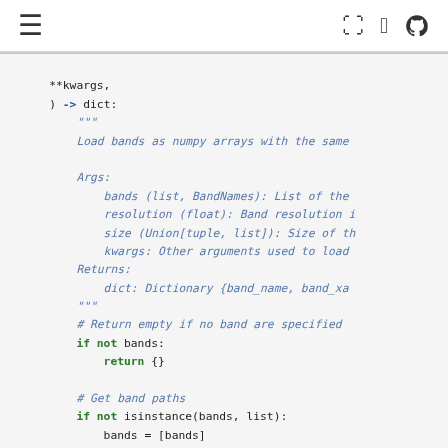≡  [icons]
**kwargs,
    ) -> dict:
        """
        Load bands as numpy arrays with the same

        Args:
            bands (list, BandNames): List of the
            resolution (float): Band resolution i
            size (Union[tuple, list]): Size of th
            kwargs: Other arguments used to load
        Returns:
            dict: Dictionary {band_name, band_xa
        """
        # Return empty if no band are specified
        if not bands:
            return {}

        # Get band paths
        if not isinstance(bands, list):
            bands = [bands]

        if resolution is None and size is not No
            resolution = self.resolution fro